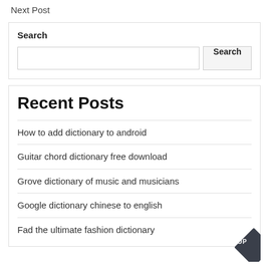Next Post
Search
[Figure (other): Search input box with a Search button]
Recent Posts
How to add dictionary to android
Guitar chord dictionary free download
Grove dictionary of music and musicians
Google dictionary chinese to english
Fad the ultimate fashion dictionary